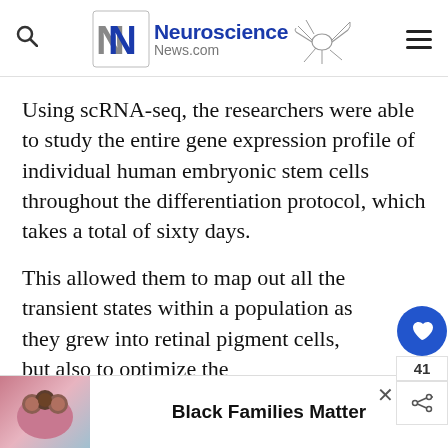Neuroscience News.com
Using scRNA-seq, the researchers were able to study the entire gene expression profile of individual human embryonic stem cells throughout the differentiation protocol, which takes a total of sixty days.
This allowed them to map out all the transient states within a population as they grew into retinal pigment cells, but also to optimize the p... RPE ce...
[Figure (illustration): Advertisement banner showing a family photo with text 'Black Families Matter']